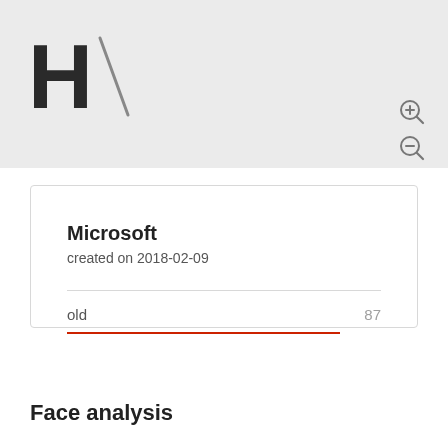H/
Microsoft
created on 2018-02-09
old   87
Face analysis